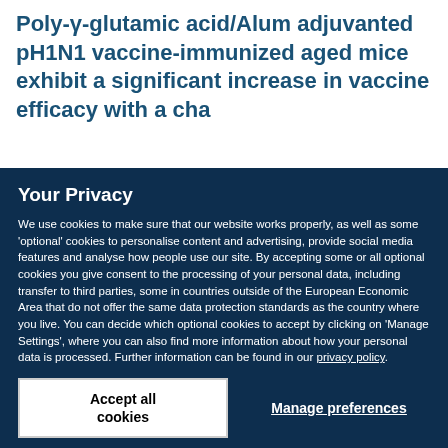Poly-γ-glutamic acid/Alum adjuvanted pH1N1 vaccine-immunized aged mice exhibit a significant increase in vaccine efficacy with a cha... [CD8+ T cell activation]
Your Privacy
We use cookies to make sure that our website works properly, as well as some 'optional' cookies to personalise content and advertising, provide social media features and analyse how people use our site. By accepting some or all optional cookies you give consent to the processing of your personal data, including transfer to third parties, some in countries outside of the European Economic Area that do not offer the same data protection standards as the country where you live. You can decide which optional cookies to accept by clicking on 'Manage Settings', where you can also find more information about how your personal data is processed. Further information can be found in our privacy policy.
Accept all cookies
Manage preferences